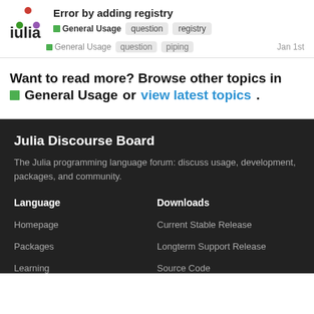Error by adding registry
Want to read more? Browse other topics in General Usage or view latest topics.
Julia Discourse Board
The Julia programming language forum: discuss usage, development, packages, and community.
Language
Downloads
Homepage
Current Stable Release
Packages
Longterm Support Release
Learning
Source Code